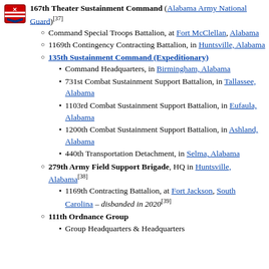167th Theater Sustainment Command (Alabama Army National Guard)[37]
Command Special Troops Battalion, at Fort McClellan, Alabama
1169th Contingency Contracting Battalion, in Huntsville, Alabama
135th Sustainment Command (Expeditionary)
Command Headquarters, in Birmingham, Alabama
731st Combat Sustainment Support Battalion, in Tallassee, Alabama
1103rd Combat Sustainment Support Battalion, in Eufaula, Alabama
1200th Combat Sustainment Support Battalion, in Ashland, Alabama
440th Transportation Detachment, in Selma, Alabama
279th Army Field Support Brigade, HQ in Huntsville, Alabama[38]
1169th Contracting Battalion, at Fort Jackson, South Carolina – disbanded in 2020[39]
111th Ordnance Group
Group Headquarters & Headquarters